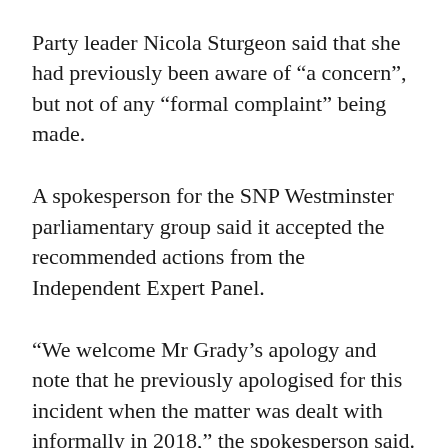Party leader Nicola Sturgeon said that she had previously been aware of “a concern”, but not of any “formal complaint” being made.
A spokesperson for the SNP Westminster parliamentary group said it accepted the recommended actions from the Independent Expert Panel.
“We welcome Mr Grady’s apology and note that he previously apologised for this incident when the matter was dealt with informally in 2018,” the spokesperson said.